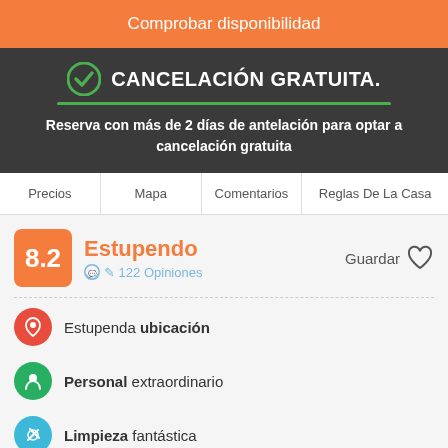Comprobar disponibilidad
CANCELACIÓN GRATUITA.
Reserva con más de 2 días de antelación para optar a cancelación gratuita
Precios  Mapa  Comentarios  Reglas De La Casa
8.2  Estupendo  122 Opiniones  Guardar
Estupenda ubicación
Personal extraordinario
Limpieza fantástica
Hotel Zara recently has been renovated to offer the customer the right atmosphere between simplicity and elegance. It offers a nice